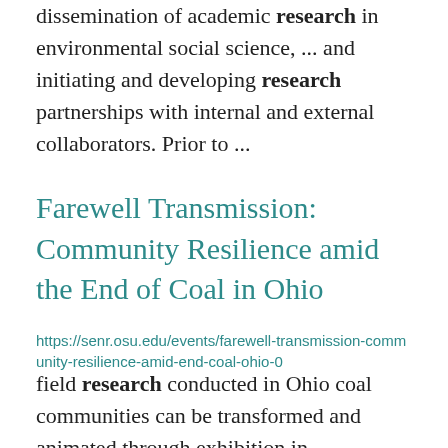dissemination of academic research in environmental social science, ... and initiating and developing research partnerships with internal and external collaborators. Prior to ...
Farewell Transmission: Community Resilience amid the End of Coal in Ohio
https://senr.osu.edu/events/farewell-transmission-community-resilience-amid-end-coal-ohio-0
field research conducted in Ohio coal communities can be transformed and animated through exhibition in ... Endowment at the OSU Office of